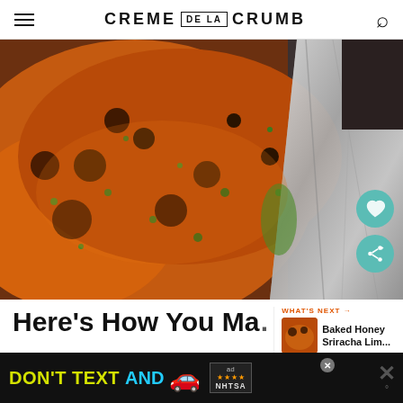CREME DE LA CRUMB
[Figure (photo): Close-up photo of baked salmon with herbs and glaze in a foil-lined baking dish, with a teal heart/favorite button and share button overlay]
Here's How You Ma…
WHAT'S NEXT → Baked Honey Sriracha Lim...
Are you ready to bake up the best baked salmon of you…
[Figure (screenshot): Ad banner: DON'T TEXT AND [car emoji] with NHTSA branding and close button]